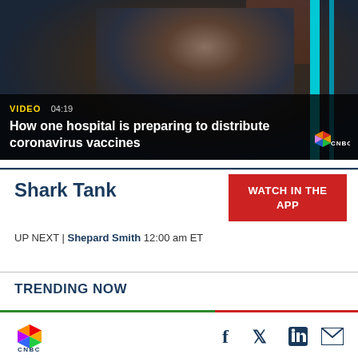[Figure (screenshot): CNBC video thumbnail showing a man in a dark suit during a video interview. Overlay text: VIDEO 04:19. Title: How one hospital is preparing to distribute coronavirus vaccines. CNBC logo watermark bottom right.]
VIDEO 04:19
How one hospital is preparing to distribute coronavirus vaccines
Shark Tank
WATCH IN THE APP
UP NEXT | Shepard Smith 12:00 am ET
TRENDING NOW
[Figure (logo): CNBC peacock logo with rainbow colors and CNBC text below]